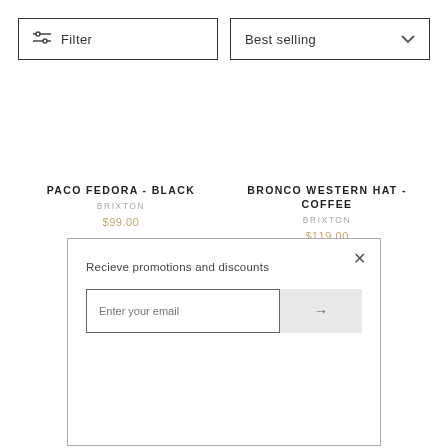Filter
Best selling
PACO FEDORA - BLACK
BRIXTON
$99.00
BRONCO WESTERN HAT - COFFEE
BRIXTON
$119.00
Recieve promotions and discounts
Enter your email